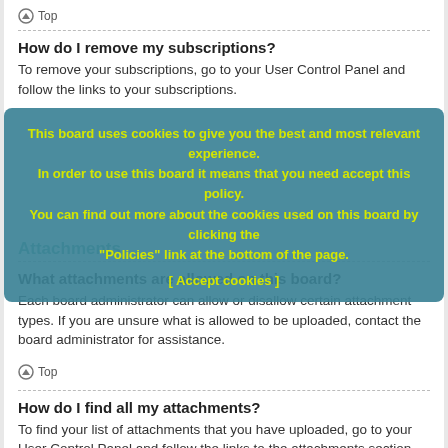Top
How do I remove my subscriptions?
To remove your subscriptions, go to your User Control Panel and follow the links to your subscriptions.
[Figure (infographic): Cookie consent overlay banner with yellow text on teal/blue background. Text: 'This board uses cookies to give you the best and most relevant experience. In order to use this board it means that you need accept this policy. You can find out more about the cookies used on this board by clicking the "Policies" link at the bottom of the page. [ Accept cookies ]']
Attachments
What attachments are allowed on this board?
Each board administrator can allow or disallow certain attachment types. If you are unsure what is allowed to be uploaded, contact the board administrator for assistance.
Top
How do I find all my attachments?
To find your list of attachments that you have uploaded, go to your User Control Panel and follow the links to the attachments section.